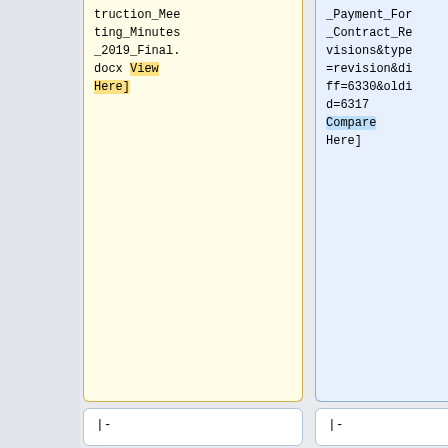truction_Meeting_Minutes_2019_Final.docx View Here]
_Payment_For_Contract_Revisions&type=revision&diff=6330&oldid=6317 Compare Here]
|-
|-
| <center>8/20/2019</center>|| <center>1 Supplemental</center>|| <center>[[FieldManager#Standard_Rounding_Convention_Guid
| <center>7/13/2021</center>|| <center>1</center>|| <center>[[Prevailing_Wage|Prevailing Wage]]</center>||Created a new